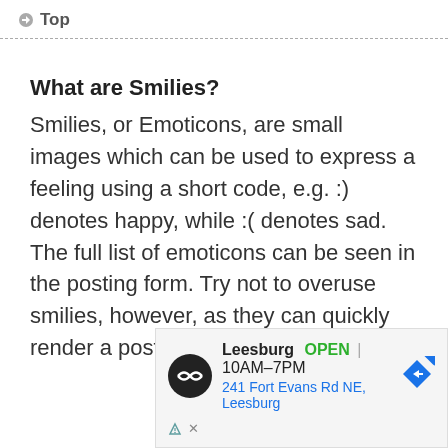Top
What are Smilies?
Smilies, or Emoticons, are small images which can be used to express a feeling using a short code, e.g. :) denotes happy, while :( denotes sad. The full list of emoticons can be seen in the posting form. Try not to overuse smilies, however, as they can quickly render a post
[Figure (other): Advertisement banner for Leesburg store showing OPEN 10AM-7PM, address 241 Fort Evans Rd NE, Leesburg, with navigation arrow icon and close controls]